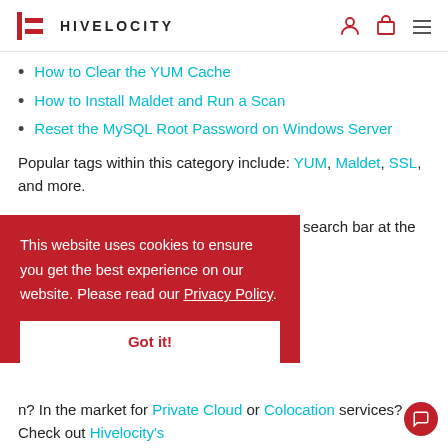HIVELOCITY
How to Clear the YUM Cache
How to Install Maldet and Run a Scan
Reset the MySQL Root Password on Windows Server
Popular tags within this category include: YUM, Maldet, SSL, and more.
Don't see what you're looking for? Use the search bar at the top
This website uses cookies to ensure you get the best experience on our website. Please read our Privacy Policy.
Got it!
n? In the market for Private Cloud or Colocation services? Check out Hivelocity's